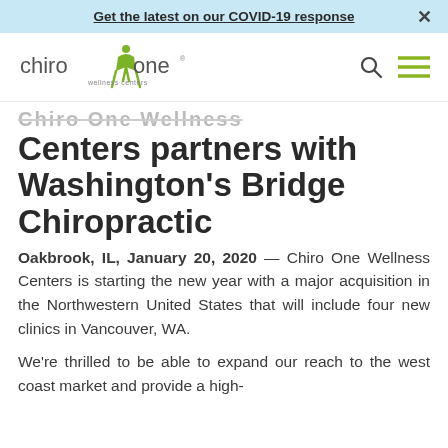Get the latest on our COVID-19 response  ×
[Figure (logo): Chiro One Wellness Centers logo with green figure and text, plus search and hamburger menu icons]
Chiro One Wellness Centers partners with Washington's Bridge Chiropractic
Oakbrook, IL, January 20, 2020 — Chiro One Wellness Centers is starting the new year with a major acquisition in the Northwestern United States that will include four new clinics in Vancouver, WA.
We're thrilled to be able to expand our reach to the west coast market and provide a high-